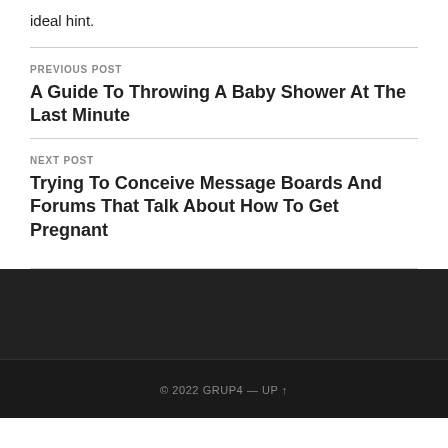ideal hint.
PREVIOUS POST
A Guide To Throwing A Baby Shower At The Last Minute
NEXT POST
Trying To Conceive Message Boards And Forums That Talk About How To Get Pregnant
© 2022 GRUP4 — UP ↑